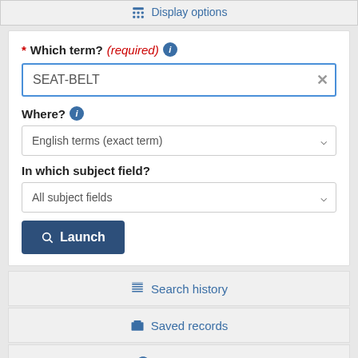Display options
* Which term? (required)
SEAT-BELT
Where?
English terms (exact term)
In which subject field?
All subject fields
Launch
Search history
Saved records
Suggestions